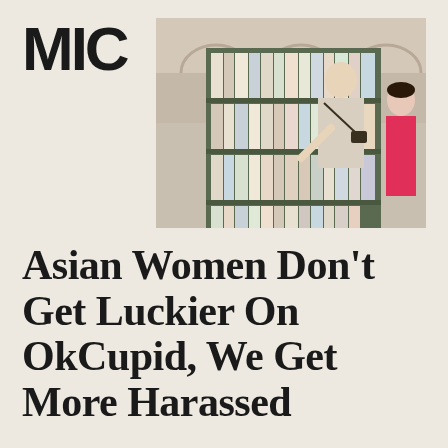MIC
MENU
[Figure (photo): A man with a camera around his neck pointing at books on an outdoor bookshelf, speaking with a woman in a pink dress, with arched building in background]
Asian Women Don't Get Luckier On OkCupid, We Get More Harassed